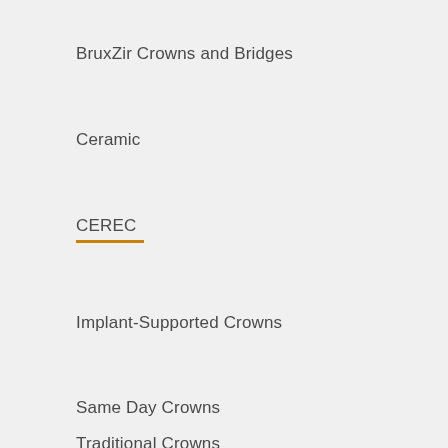BruxZir Crowns and Bridges
Ceramic
CEREC
Implant-Supported Crowns
Same Day Crowns
Traditional Crowns